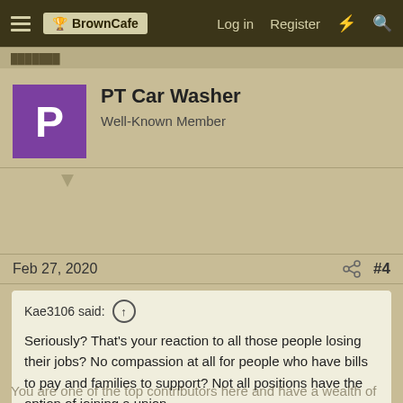BrownCafe | Log in | Register
PT Car Washer
Well-Known Member
Feb 27, 2020  #4
Kae3106 said: ↑
Seriously? That's your reaction to all those people losing their jobs? No compassion at all for people who have bills to pay and families to support? Not all positions have the option of joining a union.
You are one of the top contributors here and have a wealth of knowledge. you sha... Click to expand... attempt at